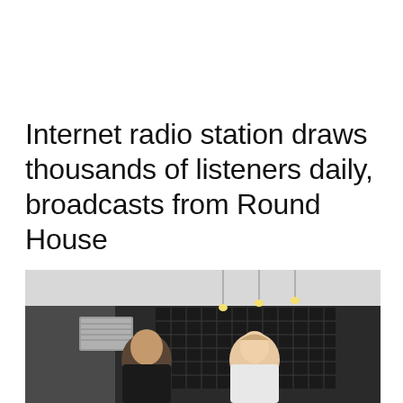Internet radio station draws thousands of listeners daily, broadcasts from Round House
[Figure (photo): Two people standing inside a radio broadcasting studio with acoustic foam panels on the walls, pendant lights hanging from the ceiling, and audio equipment visible. A man on the left wearing a black shirt and a woman on the right wearing a white top are smiling at the camera.]